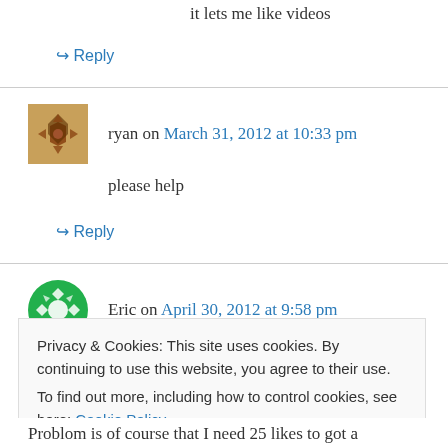it lets me like videos
↪ Reply
ryan on March 31, 2012 at 10:33 pm
please help
↪ Reply
Eric on April 30, 2012 at 9:58 pm
Privacy & Cookies: This site uses cookies. By continuing to use this website, you agree to their use. To find out more, including how to control cookies, see here: Cookie Policy
Close and accept
Problom is of course that I need 25 likes to got a